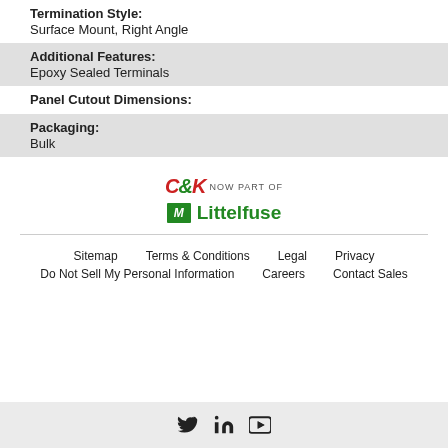Termination Style:
Surface Mount, Right Angle
Additional Features:
Epoxy Sealed Terminals
Panel Cutout Dimensions:
Packaging:
Bulk
[Figure (logo): C&K Now Part of Littelfuse logo]
Sitemap   Terms & Conditions   Legal   Privacy   Do Not Sell My Personal Information   Careers   Contact Sales
[Figure (other): Social media icons: Twitter, LinkedIn, YouTube]